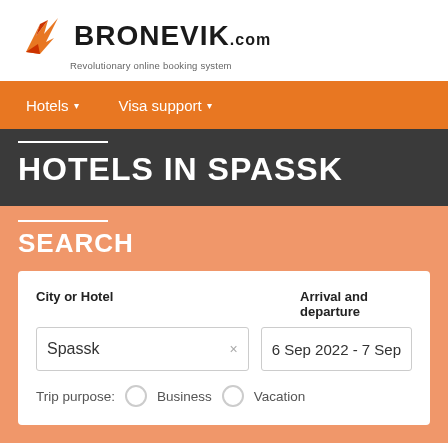[Figure (logo): Bronevik.com logo with red flame icon and text 'BRONEVIK.com', tagline 'Revolutionary online booking system']
Hotels ▾   Visa support ▾
HOTELS IN SPASSK
SEARCH
City or Hotel: Spassk   Arrival and departure: 6 Sep 2022 - 7 Sep
Trip purpose:  Business  Vacation